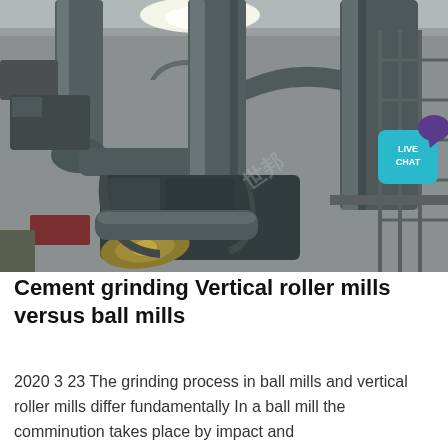[Figure (photo): Industrial interior photograph showing cement grinding vertical roller mill equipment with large grey pipes, cyclone separators, ductwork, belt drives, and steel scaffolding inside a factory building with metal roof]
Cement grinding Vertical roller mills versus ball mills
2020 3 23 The grinding process in ball mills and vertical roller mills differ fundamentally In a ball mill the comminution takes place by impact and